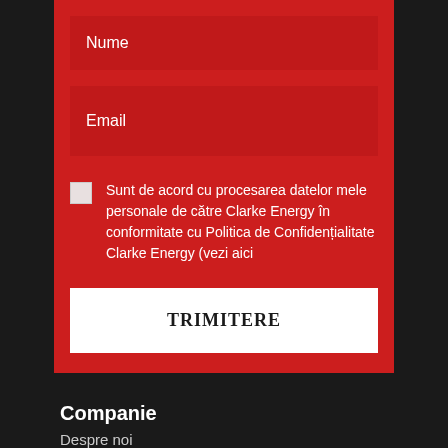Nume
Email
Sunt de acord cu procesarea datelor mele personale de către Clarke Energy în conformitate cu Politica de Confidențialitate Clarke Energy (vezi aici
TRIMITERE
Companie
Despre noi